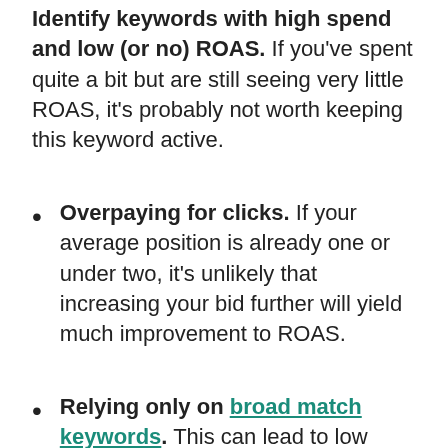Identify keywords with high spend and low (or no) ROAS. If you've spent quite a bit but are still seeing very little ROAS, it's probably not worth keeping this keyword active.
Overpaying for clicks. If your average position is already one or under two, it's unlikely that increasing your bid further will yield much improvement to ROAS.
Relying only on broad match keywords. This can lead to low ROAS because of all the search terms that often match to a broad match keyword. Identify which search terms for each broad match keyword are driving installs at or below your target cost, and add them to a new campaign as exact